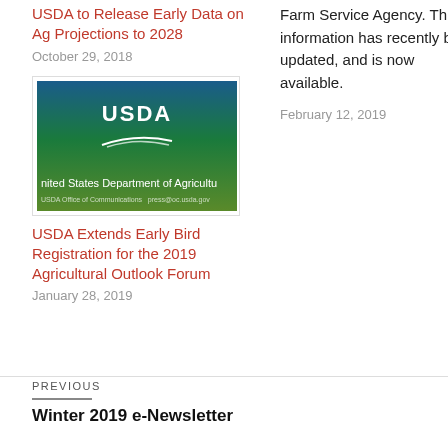USDA to Release Early Data on Ag Projections to 2028
October 29, 2018
Farm Service Agency. This information has recently been updated, and is now available.
February 12, 2019
[Figure (photo): USDA logo image with green rolling hills and 'United States Department of Agriculture' text]
USDA Extends Early Bird Registration for the 2019 Agricultural Outlook Forum
January 28, 2019
PREVIOUS
Winter 2019 e-Newsletter